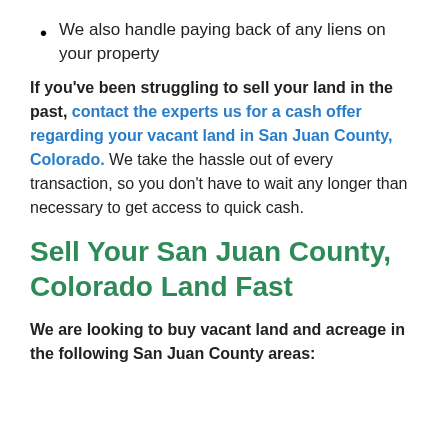We also handle paying back of any liens on your property
If you've been struggling to sell your land in the past, contact the experts us for a cash offer regarding your vacant land in San Juan County, Colorado. We take the hassle out of every transaction, so you don't have to wait any longer than necessary to get access to quick cash.
Sell Your San Juan County, Colorado Land Fast
We are looking to buy vacant land and acreage in the following San Juan County areas: